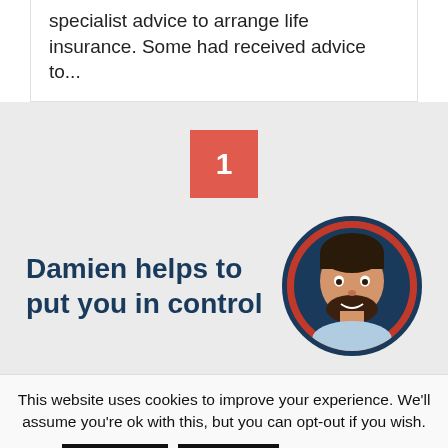specialist advice to arrange life insurance. Some had received advice to...
[Figure (other): Red square badge with white number 1 centered inside]
Damien helps to put you in control
[Figure (photo): Circular portrait photo of a smiling man with beard, wearing light blue shirt, against a red/dark blue background]
This website uses cookies to improve your experience. We'll assume you're ok with this, but you can opt-out if you wish.
Accept   Reject   Read More